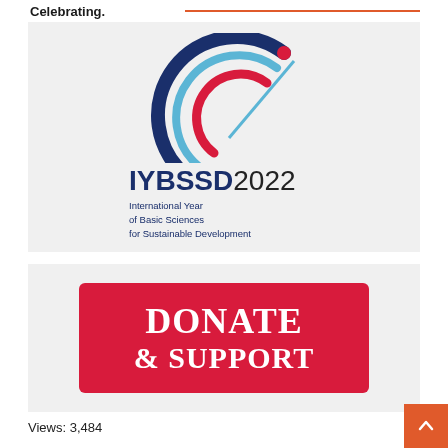Celebrating.
[Figure (logo): IYBSSD2022 logo — International Year of Basic Sciences for Sustainable Development. Features a stylized circular swoosh graphic in dark blue and red with a red dot, above the text 'IYBSSD2022' and subtitle 'International Year of Basic Sciences for Sustainable Development'.]
[Figure (other): Red rounded-rectangle button with white bold serif text reading 'DONATE & SUPPORT']
Views: 3,484